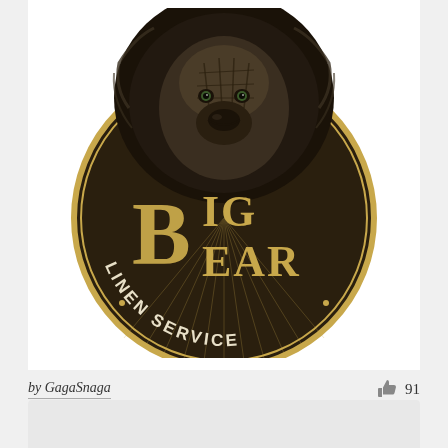[Figure (logo): Big Bear Linen Service circular logo. Dark brown/black circle with a golden/brown ring border. A detailed engraving-style grizzly bear head rising above the circle from the top. Large decorative gold lettering 'BIG BEAR' in vintage style fills the interior, with 'LINEN SERVICE' in curved text along the bottom of the circle.]
by GagaSnaga
91